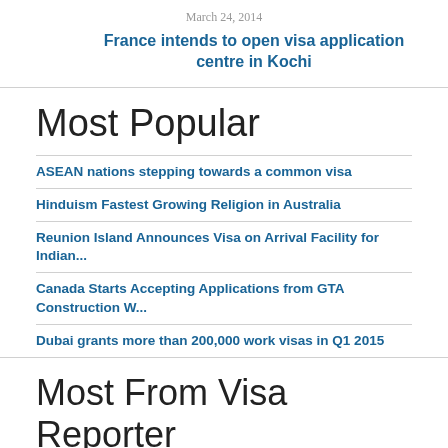March 24, 2014
France intends to open visa application centre in Kochi
Most Popular
ASEAN nations stepping towards a common visa
Hinduism Fastest Growing Religion in Australia
Reunion Island Announces Visa on Arrival Facility for Indian...
Canada Starts Accepting Applications from GTA Construction W...
Dubai grants more than 200,000 work visas in Q1 2015
Most From Visa Reporter